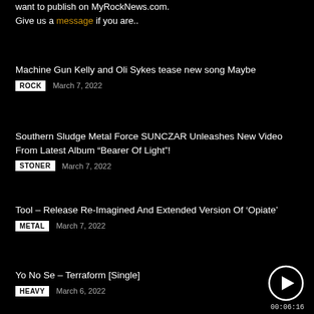want to publish on MyRockNews.com.
Give us a message if you are..
Machine Gun Kelly and Oli Sykes tease new song Maybe
ROCK   March 7, 2022
Southern Sludge Metal Force SUNCZAR Unleashes New Video From Latest Album “Bearer Of Light”!
STONER   March 7, 2022
Tool – Release Re-Imagined And Extended Version Of ‘Opiate’
METAL   March 7, 2022
Yo No Se – Terraform [Single]
HEAVY   March 6, 2022
[Figure (other): Play button circle icon for video]